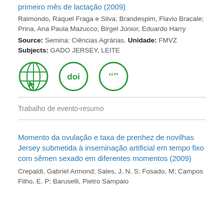primeiro mês de lactação (2009)
Raimondo, Raquel Fraga e Silva; Brandespim, Flavio Bracale; Prina, Ana Paula Mazucco; Birgel Júnior, Eduardo Harry
Source: Semina: Ciências Agrárias. Unidade: FMVZ
Subjects: GADO JERSEY, LEITE
[Figure (illustration): Three circular green icons: a globe/web icon with cursor, a DOI icon, and a quotation marks icon]
Trabalho de evento-resumo
Momento da ovulação e taxa de prenhez de novilhas Jersey submetida à inseminação artificial em tempo fixo com sêmen sexado em diferentes momentos (2009)
Crepaldi, Gabriel Armond; Sales, J. N. S; Fosado, M; Campos Filho, E. P; Baruselli, Pietro Sampaio